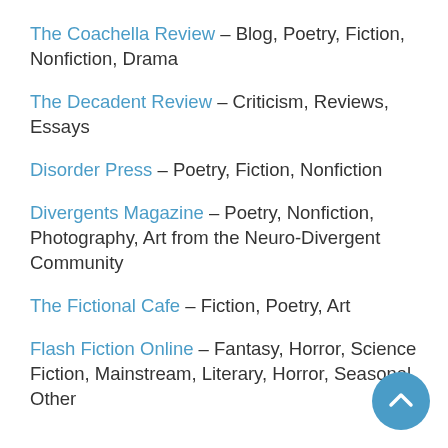The Coachella Review – Blog, Poetry, Fiction, Nonfiction, Drama
The Decadent Review – Criticism, Reviews, Essays
Disorder Press – Poetry, Fiction, Nonfiction
Divergents Magazine – Poetry, Nonfiction, Photography, Art from the Neuro-Divergent Community
The Fictional Cafe – Fiction, Poetry, Art
Flash Fiction Online – Fantasy, Horror, Science Fiction, Mainstream, Literary, Horror, Seasonal, Other